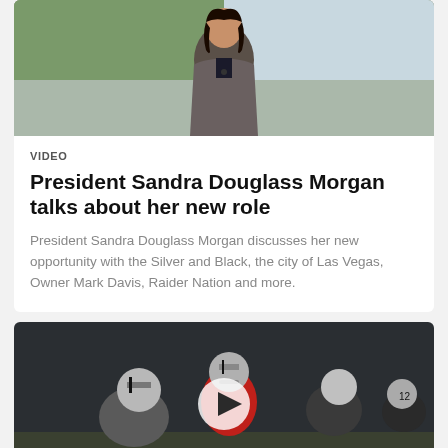[Figure (photo): Woman in gray jacket sitting at a podium or stage setting with green background, appears to be a press conference or event]
VIDEO
President Sandra Douglass Morgan talks about her new role
President Sandra Douglass Morgan discusses her new opportunity with the Silver and Black, the city of Las Vegas, Owner Mark Davis, Raider Nation and more.
[Figure (photo): Football players on field during practice, quarterback in red jersey under center, Raiders helmets visible, play button overlay indicating video content]